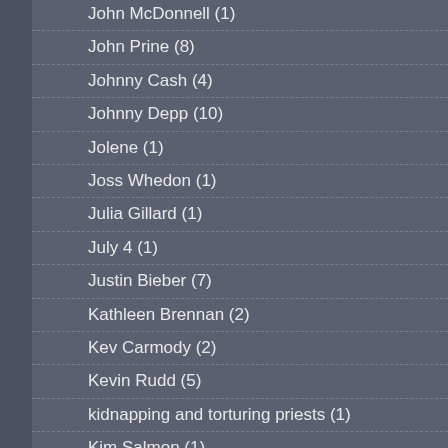John McDonnell (1)
John Prine (8)
Johnny Cash (4)
Johnny Depp (10)
Jolene (1)
Joss Whedon (1)
Julia Gillard (1)
July 4 (1)
Justin Bieber (7)
Kathleen Brennan (2)
Kev Carmody (2)
Kevin Rudd (5)
kidnapping and torturing priests (1)
Kim Salmon (1)
Kirsty MacColl (1)
Kirsty McColl (1)
Kissinger (1)